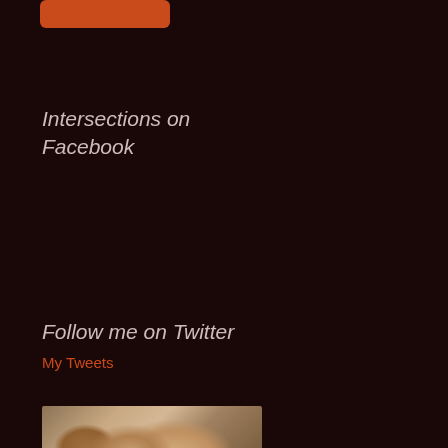[Figure (other): Orange/red rounded button partially visible at top of page]
Intersections on Facebook
Follow me on Twitter
My Tweets
[Figure (photo): Partial photo of a person's hair/head visible at bottom of page]